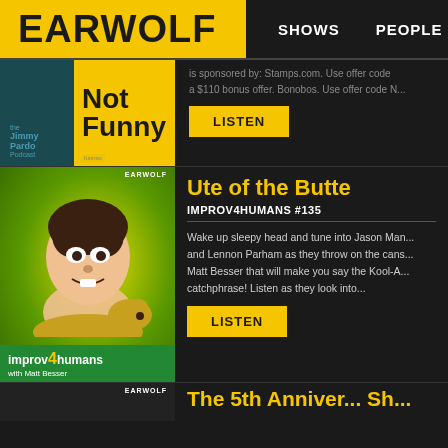[Figure (screenshot): Earwolf podcast website header with yellow logo box and navigation links SHOWS and PEOPLE]
is sponsored by: Stamps.com. Use offer code ... a $110 bonus offer. Bonobos. Use offer code N...
LISTEN
[Figure (illustration): Improv4Humans with Matt Besser podcast thumbnail showing cartoon character with dog]
Ute of the Butte
IMPROV4HUMANS #135
Wake up sleepy head and tune into Jason Man... and Lennon Parham as they throw on the cans... Matt Besser that will make you say the Kool-A... catchphrase! Listen as they look into...
LISTEN
[Figure (screenshot): Partially visible third podcast thumbnail with Earwolf watermark]
The 5th Anniver... Sh...